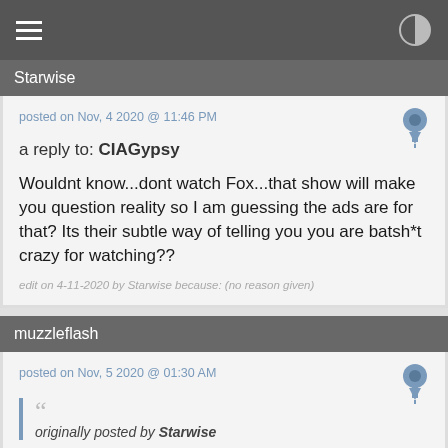Navigation bar with hamburger menu and contrast icon
Starwise
posted on Nov, 4 2020 @ 11:46 PM
a reply to: CIAGypsy
Wouldnt know...dont watch Fox...that show will make you question reality so I am guessing the ads are for that? Its their subtle way of telling you you are batsh*t crazy for watching??
edit on 4-11-2020 by Starwise because: (no reason given)
muzzleflash
posted on Nov, 5 2020 @ 01:30 AM
originally posted by Starwise